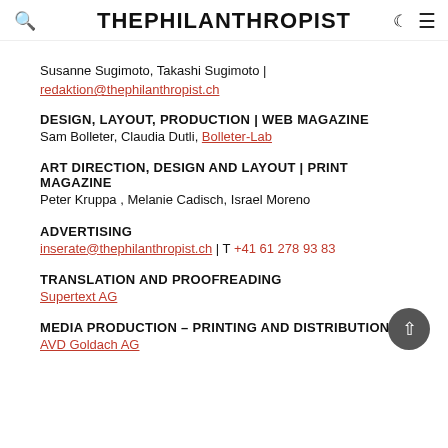THEPHILANTHROPIST
Susanne Sugimoto, Takashi Sugimoto | redaktion@thephilanthropist.ch
DESIGN, LAYOUT, PRODUCTION | WEB MAGAZINE
Sam Bolleter, Claudia Dutli, Bolleter-Lab
ART DIRECTION, DESIGN AND LAYOUT | PRINT MAGAZINE
Peter Kruppa , Melanie Cadisch, Israel Moreno
ADVERTISING
inserate@thephilanthropist.ch | T +41 61 278 93 83
TRANSLATION AND PROOFREADING
Supertext AG
MEDIA PRODUCTION – PRINTING AND DISTRIBUTION
AVD Goldach AG